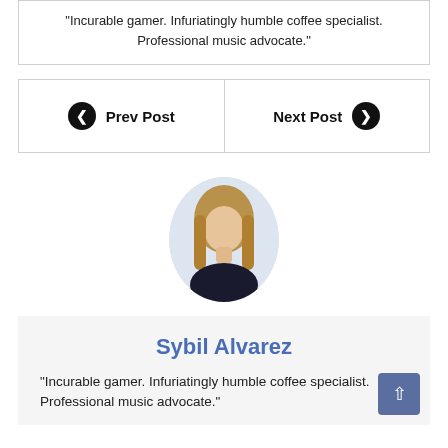"Incurable gamer. Infuriatingly humble coffee specialist. Professional music advocate."
Prev Post
Next Post
[Figure (photo): Oval portrait photo of Sybil Alvarez, a woman with long blonde-brown hair wearing a dark top, on a light blue-grey background.]
Sybil Alvarez
"Incurable gamer. Infuriatingly humble coffee specialist. Professional music advocate."